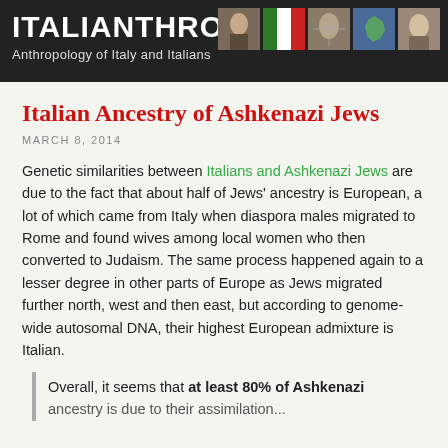ITALIANTHRO — Anthropology of Italy and Italians
Italian Ancestry of Ashkenazi Jews
MARCH 8, 2014
Genetic similarities between Italians and Ashkenazi Jews are due to the fact that about half of Jews' ancestry is European, a lot of which came from Italy when diaspora males migrated to Rome and found wives among local women who then converted to Judaism. The same process happened again to a lesser degree in other parts of Europe as Jews migrated further north, west and then east, but according to genome-wide autosomal DNA, their highest European admixture is Italian.
Overall, it seems that at least 80% of Ashkenazi ancestry is due to their assimilation...